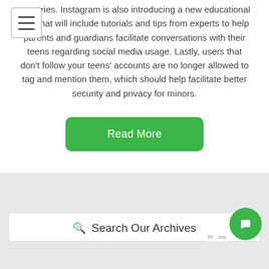countries. Instagram is also introducing a new educational hub that will include tutorials and tips from experts to help parents and guardians facilitate conversations with their teens regarding social media usage. Lastly, users that don't follow your teens' accounts are no longer allowed to tag and mention them, which should help facilitate better security and privacy for minors.
[Figure (screenshot): Green 'Read More' button]
Search Our Archives